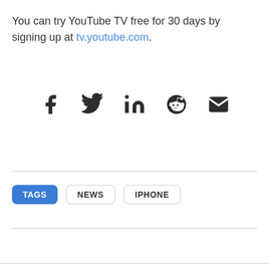You can try YouTube TV free for 30 days by signing up at tv.youtube.com.
[Figure (infographic): Row of social media sharing icons: Facebook, Twitter, LinkedIn, Reddit, Email (envelope)]
TAGS  NEWS  IPHONE